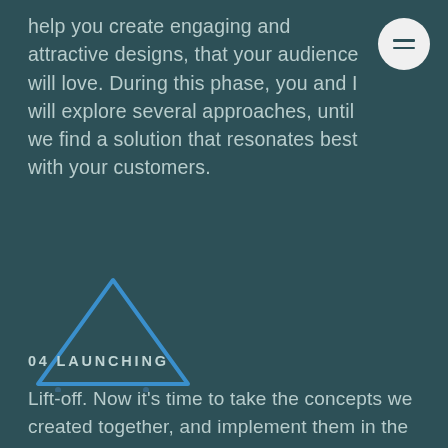help you create engaging and attractive designs, that your audience will love. During this phase, you and I will explore several approaches, until we find a solution that resonates best with your customers.
[Figure (illustration): Blue outline triangle icon on dark teal background, with two small dots below the triangle corners]
04 LAUNCHING
Lift-off. Now it's time to take the concepts we created together, and implement them in the real world.  This phase includes an array of services like design, web development and search engine optimization.